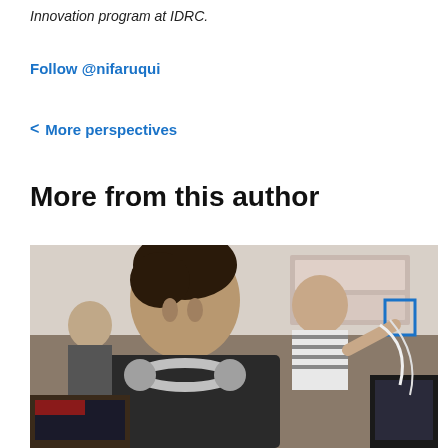Innovation program at IDRC.
Follow @nifaruqui
< More perspectives
More from this author
[Figure (photo): People working in a tech lab or makerspace, a young man with headphones around his neck in foreground, another man pointing at something in the background, various electronics equipment visible]